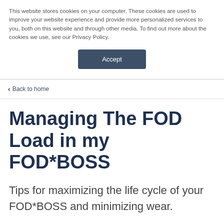This website stores cookies on your computer. These cookies are used to improve your website experience and provide more personalized services to you, both on this website and through other media. To find out more about the cookies we use, see our Privacy Policy.
Accept
< Back to home
Managing The FOD Load in my FOD*BOSS
Tips for maximizing the life cycle of your FOD*BOSS and minimizing wear.